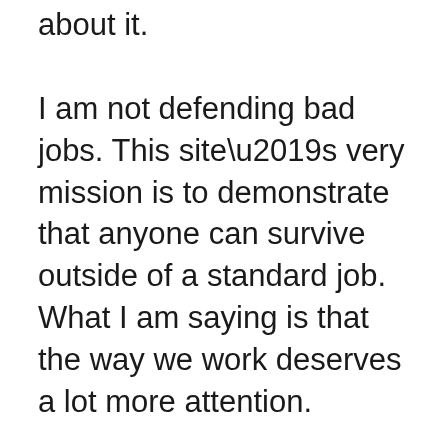about it.
I am not defending bad jobs. This site’s very mission is to demonstrate that anyone can survive outside of a standard job. What I am saying is that the way we work deserves a lot more attention.
I am not saying you shouldn’t do something you’re passionate about. You need to! What I am saying – and what Newport is saying – is that pre-existing passions do not often lead to long-time life satisfaction. When we work patiently